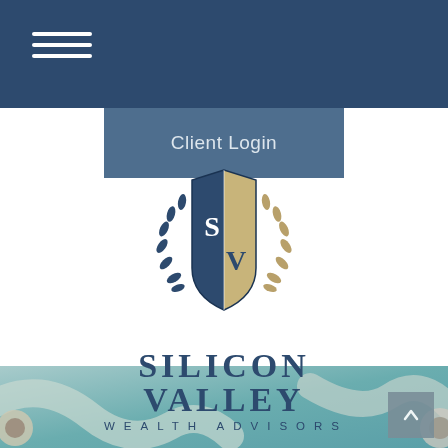Client Login
[Figure (logo): Silicon Valley Wealth Advisors logo with shield emblem containing SV letters and laurel wreath, above text SILICON VALLEY WEALTH ADVISORS]
[Figure (photo): Blurred teal background with stethoscope visible at bottom of page]